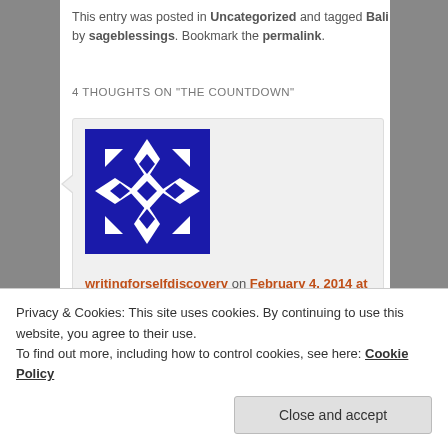This entry was posted in Uncategorized and tagged Bali by sageblessings. Bookmark the permalink.
4 THOUGHTS ON "THE COUNTDOWN"
writingforselfdiscovery on February 4, 2014 at 1:50 pm said:
I love your first post and look forward to many many more! See you soon!
Privacy & Cookies: This site uses cookies. By continuing to use this website, you agree to their use.
To find out more, including how to control cookies, see here: Cookie Policy
Close and accept